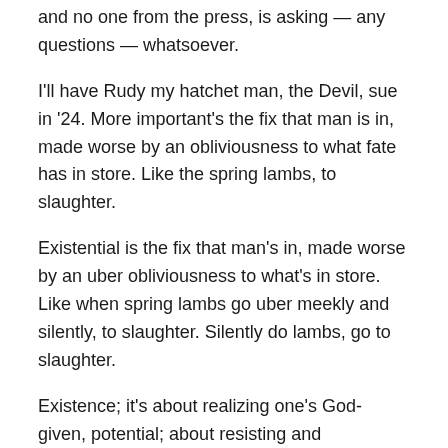and no one from the press, is asking — any questions — whatsoever.
I'll have Rudy my hatchet man, the Devil, sue in '24. More important's the fix that man is in, made worse by an obliviousness to what fate has in store. Like the spring lambs, to slaughter.
Existential is the fix that man's in, made worse by an uber obliviousness to what's in store. Like when spring lambs go uber meekly and silently, to slaughter. Silently do lambs, go to slaughter.
Existence; it's about realizing one's God-given, potential; about resisting and affirmatively countering forces of devolution, to evolve. 'Tis what 'tis, wherever one visits, in His Universes.